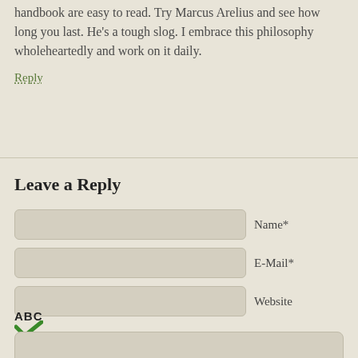handbook are easy to read. Try Marcus Arelius and see how long you last. He's a tough slog. I embrace this philosophy wholeheartedly and work on it daily.
Reply
Leave a Reply
Name*
E-Mail*
Website
[Figure (illustration): ABC spellcheck icon with green checkmark]
Comment text area (empty)